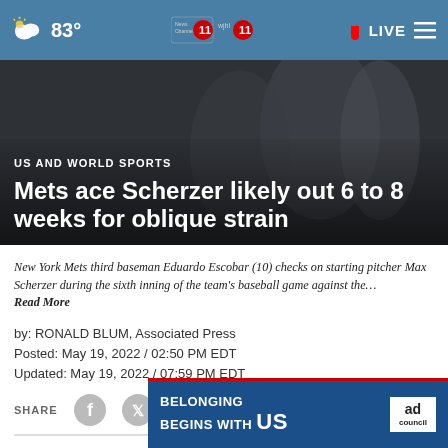83° | News Channel 11 | wjhl 11 | LIVE
[Figure (screenshot): Hero background image of baseball players, dark/blurred]
US AND WORLD SPORTS
Mets ace Scherzer likely out 6 to 8 weeks for oblique strain
New York Mets third baseman Eduardo Escobar (10) checks on starting pitcher Max Scherzer during the sixth inning of the team's baseball game against the…
Read More
by: RONALD BLUM, Associated Press
Posted: May 19, 2022 / 02:50 PM EDT
Updated: May 19, 2022 / 07:59 PM EDT
[Figure (infographic): SHARE row with Facebook, Twitter, phone, and more icons, plus a close (X) button]
[Figure (infographic): Ad Council banner: BELONGING BEGINS WITH US]